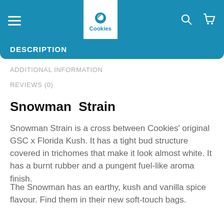Cookies — navigation header with hamburger menu, logo, search and cart icons
DESCRIPTION
ADDITIONAL INFORMATION
REVIEWS (0)
Snowman  Strain
Snowman Strain is a cross between Cookies' original GSC x Florida Kush. It has a tight bud structure covered in trichomes that make it look almost white. It has a burnt rubber and a pungent fuel-like aroma finish.
The Snowman has an earthy, kush and vanilla spice flavour. Find them in their new soft-touch bags.
Buy Snowman strain
Snowman, also known as "Snowman OG," is a hybrid